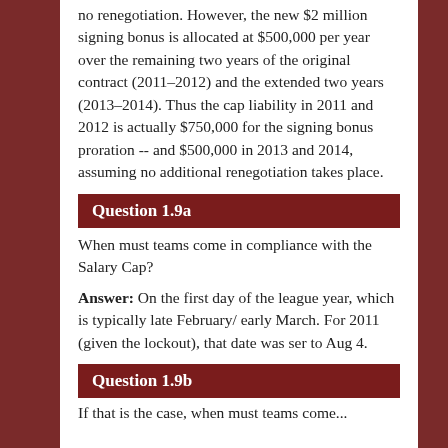no renegotiation. However, the new $2 million signing bonus is allocated at $500,000 per year over the remaining two years of the original contract (2011–2012) and the extended two years (2013–2014). Thus the cap liability in 2011 and 2012 is actually $750,000 for the signing bonus proration -- and $500,000 in 2013 and 2014, assuming no additional renegotiation takes place.
Question 1.9a
When must teams come in compliance with the Salary Cap?
Answer: On the first day of the league year, which is typically late February/ early March. For 2011 (given the lockout), that date was ser to Aug 4.
Question 1.9b
If that is the case, when must teams come...